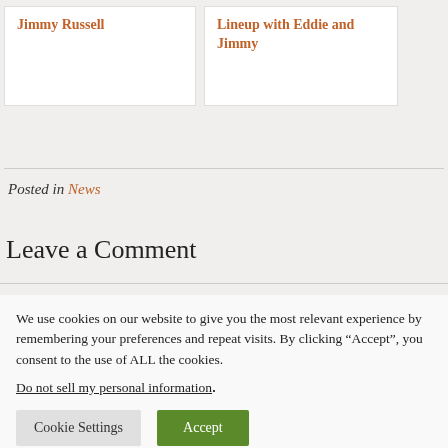Jimmy Russell
Lineup with Eddie and Jimmy
Posted in News
Leave a Comment
We use cookies on our website to give you the most relevant experience by remembering your preferences and repeat visits. By clicking “Accept”, you consent to the use of ALL the cookies. Do not sell my personal information.